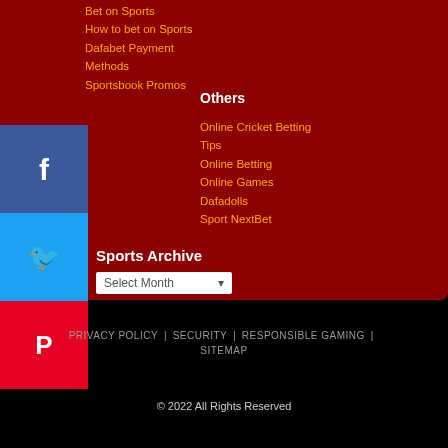Bet on Sports
How to bet on Sports
Dafabet Payment Methods
Sportsbook Promos
Others
Online Cricket Betting Tips
Online Betting
Online Games
Dafadolls
Sport NextBet
[Figure (other): Facebook social share icon]
[Figure (other): Twitter social share icon]
[Figure (other): Pinterest social share icon]
Sports Archive
Select Month
PRIVACY POLICY | SECURITY | RESPONSIBLE GAMING | SITEMAP
© 2022 All Rights Reserved